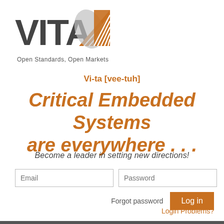[Figure (logo): VITA logo with orange/brown layered triangular shape and text 'Open Standards, Open Markets']
Vi-ta [vee-tuh]
Critical Embedded Systems are everywhere . . .
Become a leader in setting new directions!
Email
Password
Forgot password
Log in
Login Problems?